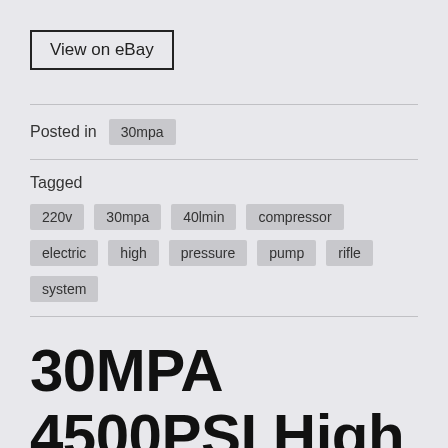View on eBay
Posted in 30mpa
Tagged 220v 30mpa 40lmin compressor electric high pressure pump rifle system
30MPA 4500PSI High Pressure Air Compressor Auto